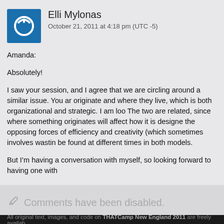Elli Mylonas
October 21, 2011 at 4:18 pm (UTC -5)
Amanda:

Absolutely!

I saw your session, and I agree that we are circling around a similar issue. You ar originate and where they live, which is both organizational and strategic. I am loo The two are related, since where something originates will affect how it is designe the opposing forces of efficiency and creativity (which sometimes involves wastin be found at different times in both models.

But I'm having a conversation with myself, so looking forward to having one with
Comments have been disabled.
All original text, images, and code on THATCamp New England 2011 are freely availab